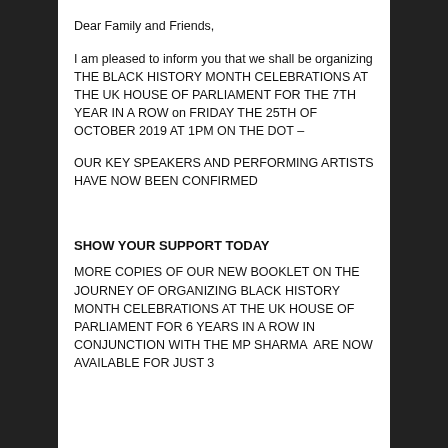Dear Family and Friends,
I am pleased to inform you that we shall be organizing THE BLACK HISTORY MONTH CELEBRATIONS AT THE UK HOUSE OF PARLIAMENT FOR THE 7TH YEAR IN A ROW on FRIDAY THE 25TH OF OCTOBER 2019 AT 1PM ON THE DOT –
OUR KEY SPEAKERS AND PERFORMING ARTISTS HAVE NOW BEEN CONFIRMED
SHOW YOUR SUPPORT TODAY
MORE COPIES OF OUR NEW BOOKLET ON THE JOURNEY OF ORGANIZING BLACK HISTORY MONTH CELEBRATIONS AT THE UK HOUSE OF PARLIAMENT FOR 6 YEARS IN A ROW IN CONJUNCTION WITH THE MP SHARMA  ARE NOW AVAILABLE FOR JUST 3